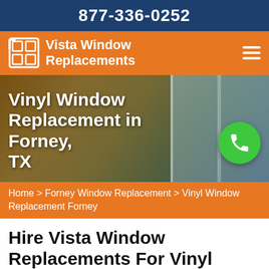877-336-0252
Vista Window Replacements
[Figure (photo): Hero image of a person installing or cleaning a vinyl window, with text overlay reading 'Vinyl Window Replacement in Forney, TX']
Home > Forney Window Replacement > Vinyl Window Replacement Forney
Hire Vista Window Replacements For Vinyl Window Replacement in Forney, TX. We Have Professional Technicians For Window Replacement...